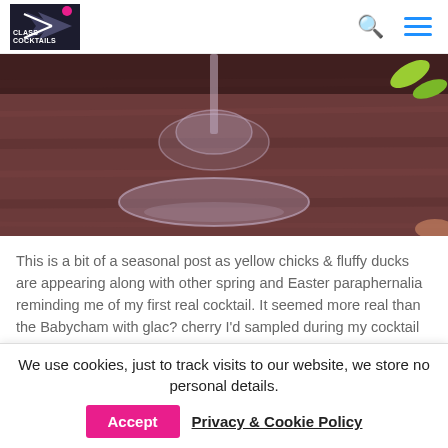Class Cocktails — navigation bar with logo, search icon, and hamburger menu
[Figure (photo): Close-up photo of a wine/cocktail glass base on a dark wooden surface, with a green leaf garnish visible in the upper right corner]
This is a bit of a seasonal post as yellow chicks & fluffy ducks are appearing along with other spring and Easter paraphernalia reminding me of my first real cocktail. It seemed more real than the Babycham with glac? cherry I'd sampled during my cocktail initiation years.
My first cocktail was in newly opened wine bar in the town where I lived during my teenage years. It was the
We use cookies, just to track visits to our website, we store no personal details.